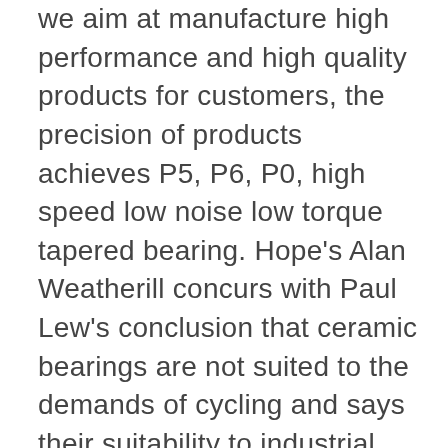we aim at manufacture high performance and high quality products for customers, the precision of products achieves P5, P6, P0, high speed low noise low torque tapered bearing. Hope's Alan Weatherill concurs with Paul Lew's conclusion that ceramic bearings are not suited to the demands of cycling and says their suitability to industrial machinery doesn't necessarily provide the performance benefit for cyclists that many people and companies claim they do. This fine-grain martensitic steel has high hardness, exceptional wear, surface characteristics and is exceptional for the creation of chrome steel balls. ASIA Type 52100 Chrome Steel Balls are used in the ball and roller bearing industry and for a variety of automobile applications. Steel Bearings are commodity items that are composed of hardened steel balls and a steel inner and outer race. We are the prominent company that is engaged in providing high quality range of Crankshaft Bearing. Hartford has extensive capabilities and expertise